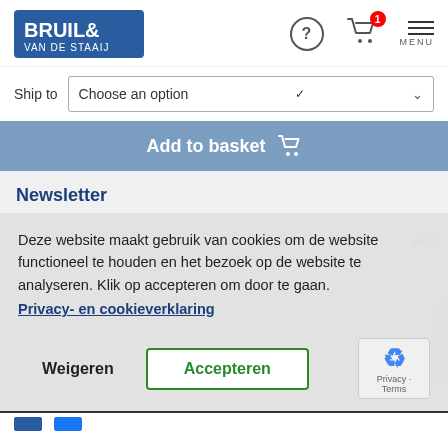[Figure (logo): Bruil & Van de Staaij company logo in blue rectangle]
Ship to   Choose an option
Add to basket
Newsletter
Deze website maakt gebruik van cookies om de website functioneel te houden en het bezoek op de website te analyseren. Klik op accepteren om door te gaan.
Privacy- en cookieverklaring
Weigeren
Accepteren